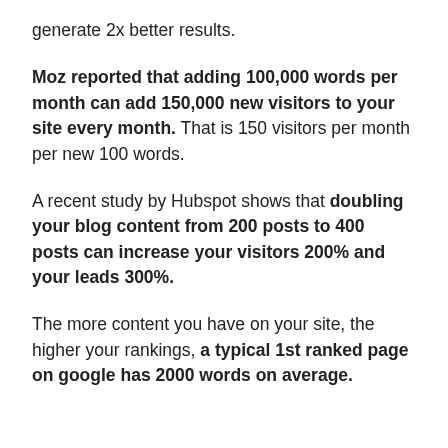generate 2x better results.
Moz reported that adding 100,000 words per month can add 150,000 new visitors to your site every month. That is 150 visitors per month per new 100 words.
A recent study by Hubspot shows that doubling your blog content from 200 posts to 400 posts can increase your visitors 200% and your leads 300%.
The more content you have on your site, the higher your rankings, a typical 1st ranked page on google has 2000 words on average.